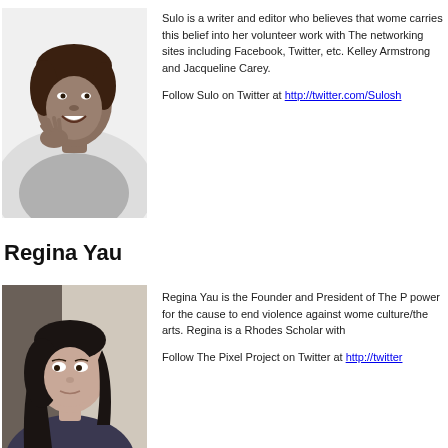[Figure (photo): Black and white photo of a woman smiling, hand near face, wearing a sleeveless top]
Sulo is a writer and editor who believes that wome carries this belief into her volunteer work with The networking sites including Facebook, Twitter, etc. Kelley Armstrong and Jacqueline Carey.

Follow Sulo on Twitter at http://twitter.com/Sulosh
Regina Yau
[Figure (photo): Color photo of a young Asian woman with dark hair, looking to the side]
Regina Yau is the Founder and President of The P power for the cause to end violence against wome culture/the arts. Regina is a Rhodes Scholar with

Follow The Pixel Project on Twitter at http://twitter